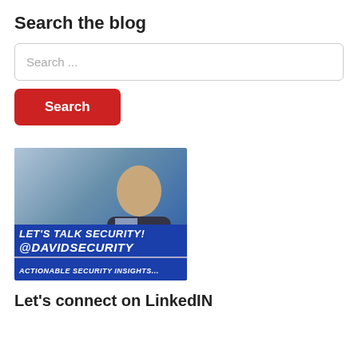Search the blog
Search ...
Search
[Figure (photo): Promotional banner image showing a security professional seated at a desk, smiling at the camera in a professional uniform, with overlaid text reading 'LET'S TALK SECURITY! @DAVIDSECURITY ACTIONABLE SECURITY INSIGHTS...' on a blue background.]
Let's connect on LinkedIN